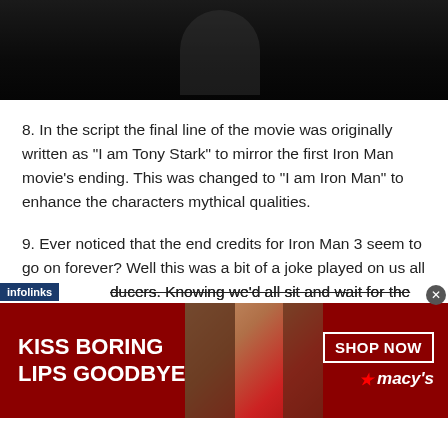[Figure (photo): Dark screenshot showing silhouettes of people against a nearly black background]
8. In the script the final line of the movie was originally written as "I am Tony Stark" to mirror the first Iron Man movie's ending. This was changed to "I am Iron Man" to enhance the characters mythical qualities.
9. Ever noticed that the end credits for Iron Man 3 seem to go on forever? Well this was a bit of a joke played on us all by the producers. Knowing we'd all sit and wait for the post-
[Figure (photo): Macy's advertisement banner: KISS BORING LIPS GOODBYE with a woman's face wearing red lipstick, SHOP NOW button, and Macy's star logo]